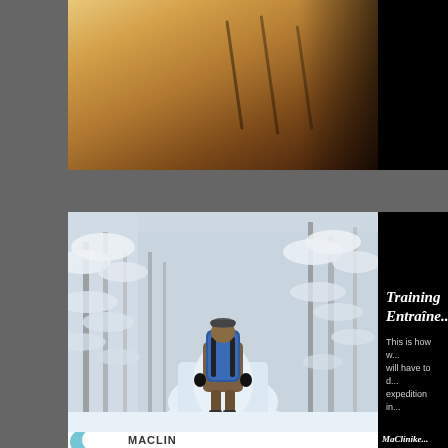[Figure (photo): Partial view of wooden interior surface with diagonal shadow lines, warm brown tones, black panel on right]
[Figure (photo): Person with large blue backpack walking on snowy winter forest trail with snow-covered trees]
Training / Entraîne...
This is how w... will have to d... expedition in...
[Figure (logo): MaClinique dental logo with teal tooth icon and dark text MACLINI... partial view, MaClinike... dentai... text on black panel]